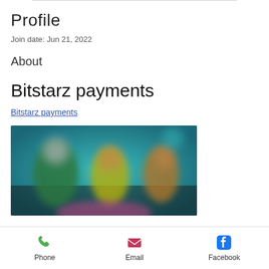Profile
Join date: Jun 21, 2022
About
Bitstarz payments
Bitstarz payments
[Figure (photo): Blurred screenshot of a gaming/casino website (Bitstarz) showing animated characters on a teal/blue background]
Phone   Email   Facebook